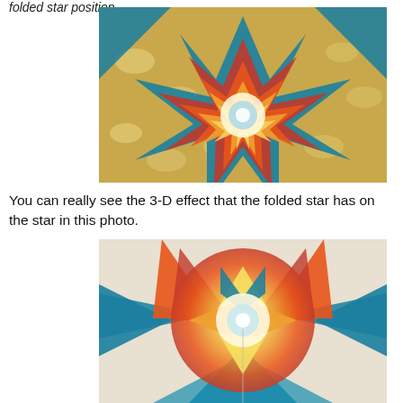folded star position.
[Figure (photo): Close-up overhead view of a colorful folded star quilt block with 3-D effect. The star has teal/blue, red/orange, and yellow gradient fabric folded into pointed star shapes on a tan and white patterned background.]
You can really see the 3-D effect that the folded star has on the star in this photo.
[Figure (photo): Close-up front view of the center of the folded star quilt block, showing the 3-D dimensional effect of the teal, orange, red, and yellow folded fabric star points converging at the center.]